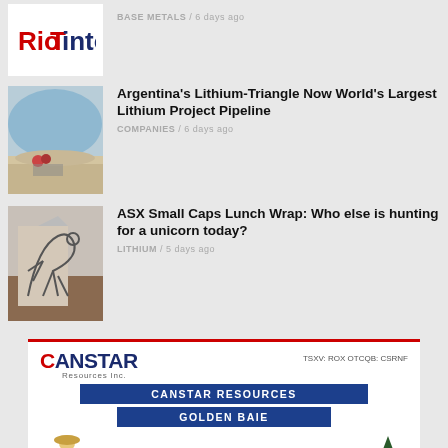[Figure (logo): Rio Tinto logo in red and white]
BASE METALS / 6 days ago
[Figure (photo): Workers on a lithium salt flat in Argentina]
Argentina's Lithium-Triangle Now World's Largest Lithium Project Pipeline
COMPANIES / 6 days ago
[Figure (photo): Industrial equipment or sculpture in a room]
ASX Small Caps Lunch Wrap: Who else is hunting for a unicorn today?
LITHIUM / 5 days ago
[Figure (infographic): Canstar Resources advertisement banner for Golden Baie Newfoundland Gold Discovery. TSXV: ROX OTCQB: CSRNF. Text: CANSTAR RESOURCES, GOLDEN BAIE, Could be the Next Big Newfoundland Gold Discovery]